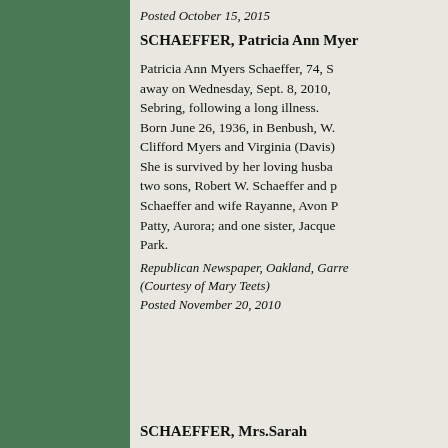Posted October 15, 2015
SCHAEFFER, Patricia Ann Myer
Patricia Ann Myers Schaeffer, 74, S away on Wednesday, Sept. 8, 2010, Sebring, following a long illness. Born June 26, 1936, in Benbush, W. Clifford Myers and Virginia (Davis) She is survived by her loving husba two sons, Robert W. Schaeffer and p Schaeffer and wife Rayanne, Avon P Patty, Aurora; and one sister, Jacque Park.
Republican Newspaper, Oakland, Garre (Courtesy of Mary Teets) Posted November 20, 2010
SCHAEFFER, Mrs.Sarah